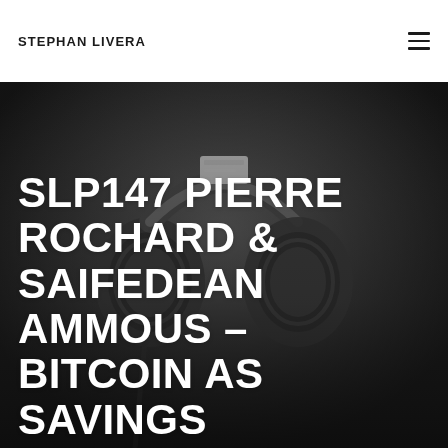STEPHAN LIVERA
[Figure (photo): Dark moody close-up photograph of over-ear headphones on a dark background]
SLP147 PIERRE ROCHARD & SAIFEDEAN AMMOUS – BITCOIN AS SAVINGS TECHNOLOGY & NUMBER GO UP